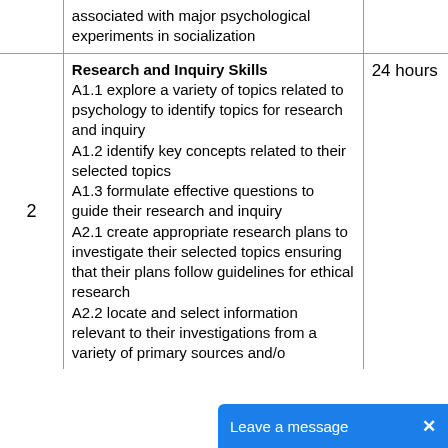|  | Content | Hours |
| --- | --- | --- |
|  | associated with major psychological experiments in socialization |  |
| 2 | Research and Inquiry Skills
A1.1 explore a variety of topics related to psychology to identify topics for research and inquiry
A1.2 identify key concepts related to their selected topics
A1.3 formulate effective questions to guide their research and inquiry
A2.1 create appropriate research plans to investigate their selected topics ensuring that their plans follow guidelines for ethical research
A2.2 locate and select information relevant to their investigations from a variety of primary sources and/or... | 24 hours |